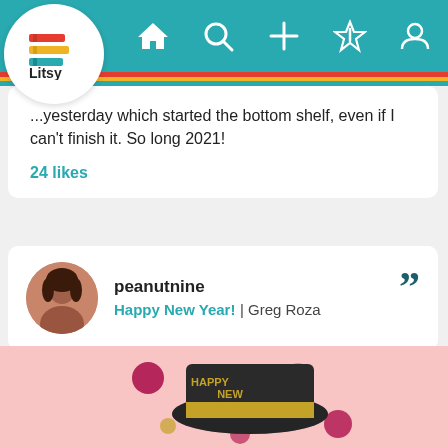[Figure (screenshot): Litsy app navigation bar with teal background showing home, search, add, activity, and profile icons, with Litsy logo in white circle at top-left]
...yesterday which started the bottom shelf, even if I can't finish it. So long 2021!
24 likes
peanutnine
Happy New Year! | Greg Roza
[Figure (illustration): Happy New Year hat illustration on pink background with colorful dots]